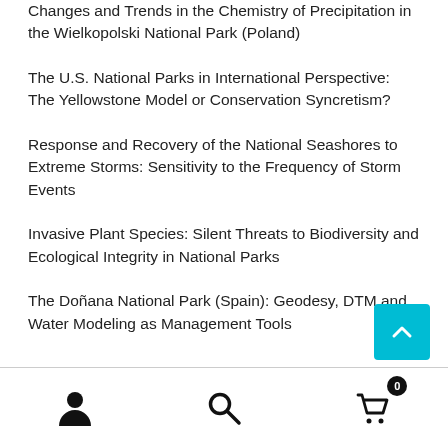Changes and Trends in the Chemistry of Precipitation in the Wielkopolski National Park (Poland)
The U.S. National Parks in International Perspective: The Yellowstone Model or Conservation Syncretism?
Response and Recovery of the National Seashores to Extreme Storms: Sensitivity to the Frequency of Storm Events
Invasive Plant Species: Silent Threats to Biodiversity and Ecological Integrity in National Parks
The Doñana National Park (Spain): Geodesy, DTM and Water Modeling as Management Tools
Navigation footer with user, search, and cart icons